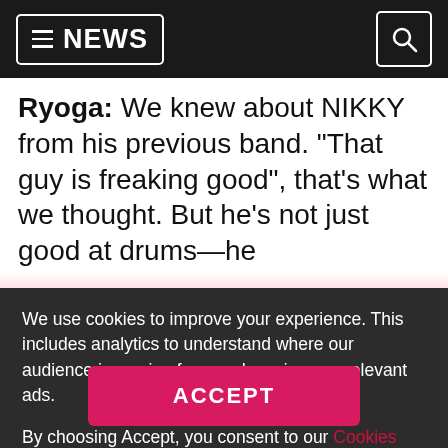≡ NEWS
Ryoga: We knew about NIKKY from his previous band. "That guy is freaking good", that's what we thought. But he's not just good at drums—he
We use cookies to improve your experience. This includes analytics to understand where our audience is coming from and serving you relevant ads.

By choosing Accept, you consent to our Cookies Policy, and Privacy & Policy.
ACCEPT